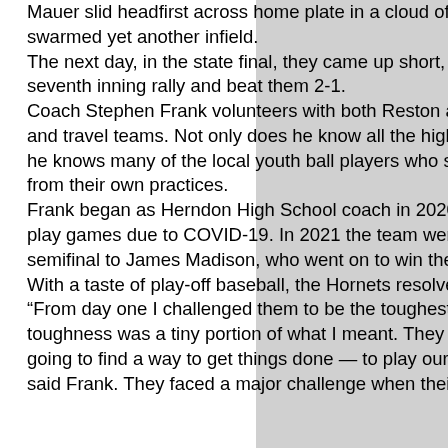Mauer slid headfirst across home plate in a cloud of dust and again the Hornets swarmed yet another infield. The next day, in the state final, they came up short, as Freedom High squashed their seventh inning rally and beat them 2-1. Coach Stephen Frank volunteers with both Reston and Herndon youth baseball leagues and travel teams. Not only does he know all the high school players in the dugout, but he knows many of the local youth ball players who scream in the crowd, covered in dirt from their own practices. Frank began as Herndon High School coach in 2020, when the team trained but did not play games due to COVID-19. In 2021 the team went 14 and 3 and lost the regional semifinal to James Madison, who went on to win the state title. With a taste of play-off baseball, the Hornets resolved to fight even harder in 2022. "From day one I challenged them to be the toughest team in the area — and physical toughness was a tiny portion of what I meant. They developed an attitude of, 'We are going to find a way to get things done — to play our game and we will have a chance,'" said Frank. They faced a major challenge when their top player, pitcher Jackson